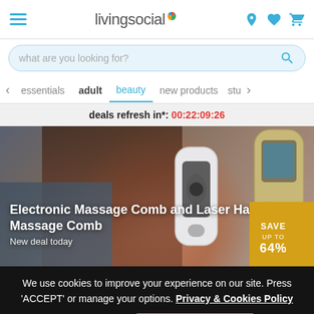livingsocial — navigation header with hamburger menu, logo, and icons
what are you looking for?
essentials   adult   beauty   new products   stu
deals refresh in*: 00:22:09:26
[Figure (photo): Woman using an electronic massage comb on her hair, with a second laser hair growth device visible on the right side]
Electronic Massage Comb and Laser Hair Growth Massage Comb
New deal today
SAVE UP TO 64%
We use cookies to improve your experience on our site. Press 'ACCEPT' or manage your options. Privacy & Cookies Policy
Options
ACCEPT